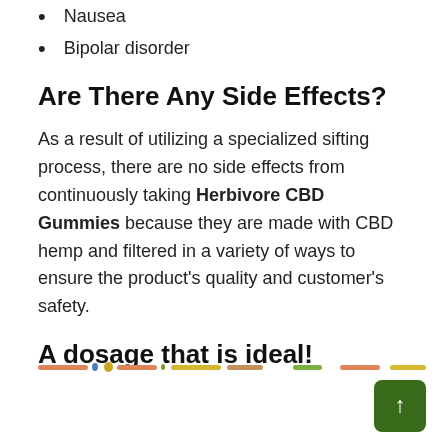Nausea
Bipolar disorder
Are There Any Side Effects?
As a result of utilizing a specialized sifting process, there are no side effects from continuously taking Herbivore CBD Gummies because they are made with CBD hemp and filtered in a variety of ways to ensure the product’s quality and customer’s safety.
A dosage that is ideal!